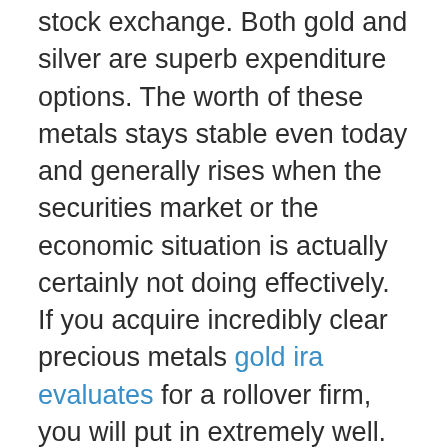stock exchange. Both gold and silver are superb expenditure options. The worth of these metals stays stable even today and generally rises when the securities market or the economic situation is actually certainly not doing effectively. If you acquire incredibly clear precious metals gold ira evaluates for a rollover firm, you will put in extremely well.
Goldco commits on its own to assisting customers put together a Gold IRA. It is actually a self-directed IRA that makes it possible for customers to obtain gold in their IRA as opposed to stocks or connections. It is simple to set up a self-reliant individual retirement account along with all of them.
If you want to open up an individual